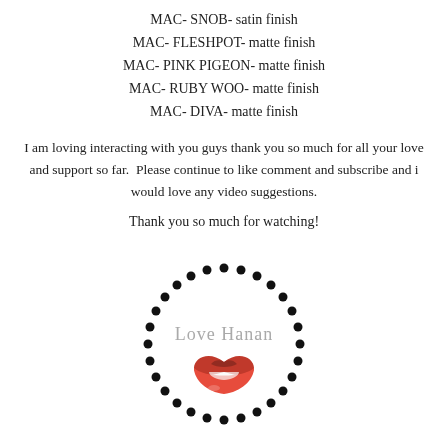MAC- SNOB- satin finish
MAC- FLESHPOT- matte finish
MAC- PINK PIGEON- matte finish
MAC- RUBY WOO- matte finish
MAC- DIVA- matte finish
I am loving interacting with you guys thank you so much for all your love and support so far.  Please continue to like comment and subscribe and i would love any video suggestions.
Thank you so much for watching!
[Figure (logo): Circle of black dots with 'Love Hanan' text and a red lips illustration in the center]